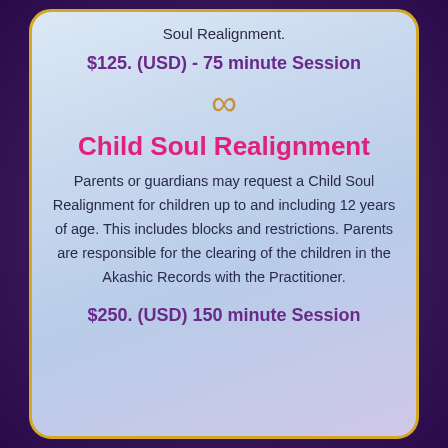Soul Realignment.
$125. (USD) - 75 minute Session
[Figure (illustration): Gold infinity symbol]
Child Soul Realignment
Parents or guardians may request a Child Soul Realignment for children up to and including 12 years of age. This includes blocks and restrictions. Parents are responsible for the clearing of the children in the Akashic Records with the Practitioner.
$250. (USD) 150 minute Session